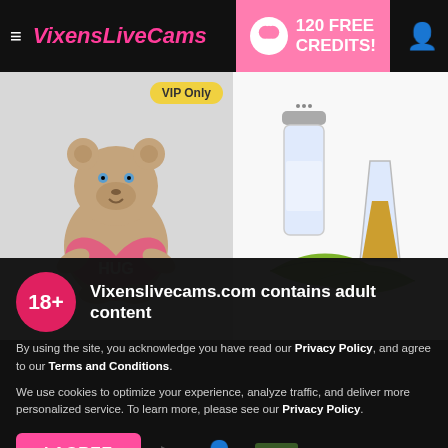VixensLiveCams — 120 FREE CREDITS!
[Figure (illustration): Cartoon teddy bear holding a pink heart with text HUG, on a light grey background with VIP Only badge]
[Figure (photo): Tequila shot with salt shaker and lime wedges on white background]
[Figure (infographic): 18+ age warning badge in red circle]
Vixenslivecams.com contains adult content
By using the site, you acknowledge you have read our Privacy Policy, and agree to our Terms and Conditions.
We use cookies to optimize your experience, analyze traffic, and deliver more personalized service. To learn more, please see our Privacy Policy.